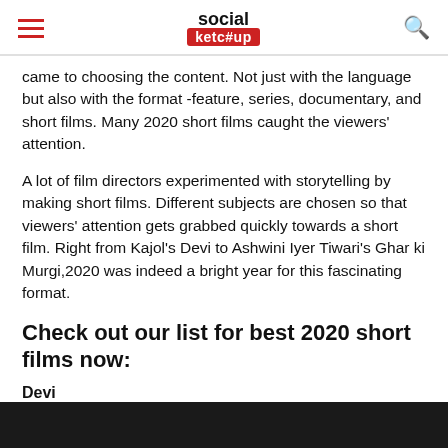social ketc#up
came to choosing the content. Not just with the language but also with the format -feature, series, documentary, and short films. Many 2020 short films caught the viewers' attention.
A lot of film directors experimented with storytelling by making short films. Different subjects are chosen so that viewers' attention gets grabbed quickly towards a short film. Right from Kajol's Devi to Ashwini Iyer Tiwari's Ghar ki Murgi,2020 was indeed a bright year for this fascinating format.
Check out our list for best 2020 short films now:
Devi
[Figure (photo): Dark image strip at the bottom of the page showing partial photo content]